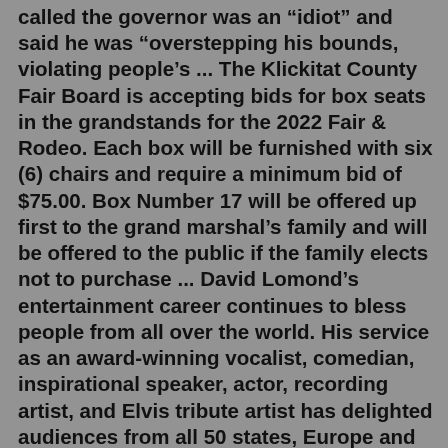called the governor was an “idiot” and said he was “overstepping his bounds, violating people’s ... The Klickitat County Fair Board is accepting bids for box seats in the grandstands for the 2022 Fair & Rodeo. Each box will be furnished with six (6) chairs and require a minimum bid of $75.00. Box Number 17 will be offered up first to the grand marshal’s family and will be offered to the public if the family elects not to purchase ... David Lomond’s entertainment career continues to bless people from all over the world. His service as an award-winning vocalist, comedian, inspirational speaker, actor, recording artist, and Elvis tribute artist has delighted audiences from all 50 states, Europe and Japan. Recently, he played a supporting role in the 5-star movie ... Registration for the 2022 Yakima Valley Fair & Rodeo opens on April 1! Here are a few updates for registration this year. 4-H Clubs/FFA Chapter/Exhibitor Groups: Animal exhibitors will be allowed to enter as a member of a 4-H Group, FFA Chapter, or as a Youth Exhibitor given